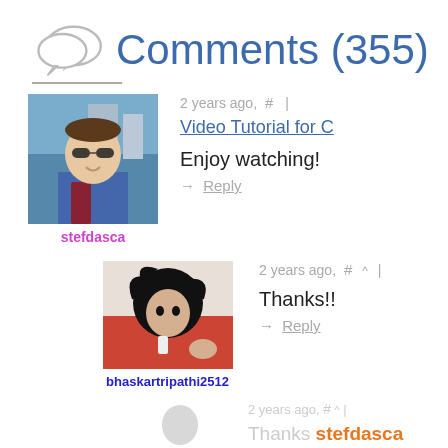Comments (355)
2 years ago, # |
Video Tutorial for C
Enjoy watching!
→ Reply
stefdasca
2 years ago, # ^ |
Thanks!!
→ Reply
bhaskartripathi2512
2 years ago, # ^ |
Thanks stefdasca Please upload E als